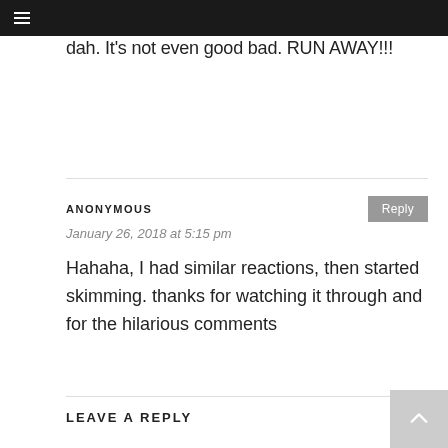≡
dah. It's not even good bad. RUN AWAY!!!
ANONYMOUS
January 26, 2018 at 5:15 pm
Hahaha, I had similar reactions, then started skimming. thanks for watching it through and for the hilarious comments
LEAVE A REPLY